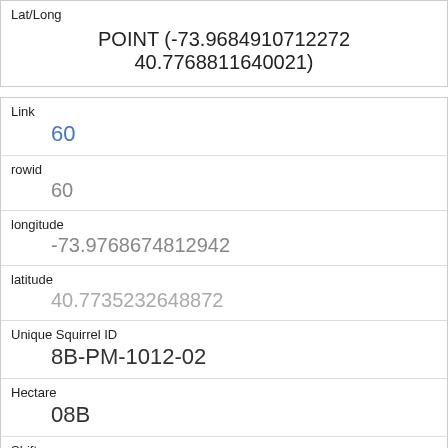| Lat/Long | POINT (-73.9684910712272 40.7768811640021) |
| Link | 60 |
| rowid | 60 |
| longitude | -73.9768674812942 |
| latitude | 40.7735232648872 |
| Unique Squirrel ID | 8B-PM-1012-02 |
| Hectare | 08B |
| Shift | PM |
| Date | 10122018 |
| Hectare Squirrel Number |  |